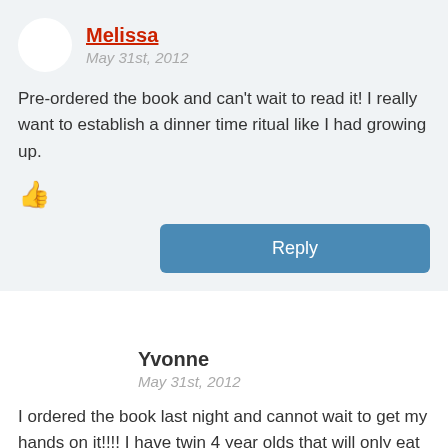Melissa
May 31st, 2012
Pre-ordered the book and can't wait to read it! I really want to establish a dinner time ritual like I had growing up.
Reply
Yvonne
May 31st, 2012
I ordered the book last night and cannot wait to get my hands on it!!!! I have twin 4 year olds that will only eat animal shaped chicken nuggets. I need help!